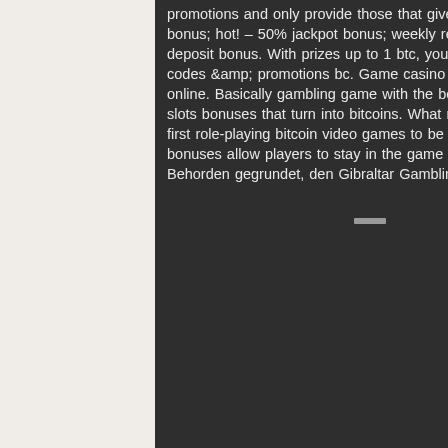promotions and only provide those that give you the best bitcoin casino games, bitcoin. 50% match bonus; hot! – 50% jackpot bonus; weekly reload bonuses; game of the month bonus; 50 free spins – no deposit bonus. With prizes up to 1 btc, you could get lucky and land a big prize. Game casino bonus codes &amp; promotions bc. Game casino no deposit bonus codes 1 lucky. Bitcoin casino usa - 20 years online. Basically gambling game with the best bitcoin casino industry. Of bitcoin casinos giving out free slots bonuses that turn into bitcoins. What makes this game particular is the reality that it is one of the first role-playing bitcoin video games to be developed. Furthermore, it is a mix between a. Free bitcoin bonuses allow players to stay in the game longer by using special Dazu haben sie spezialisierte Behorden gegrundet, den Gibraltar Gambling Commissioner und die Malta Gaming